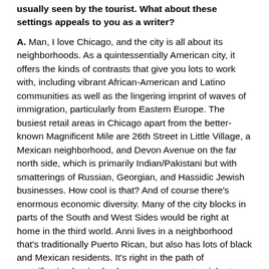usually seen by the tourist. What about these settings appeals to you as a writer?
A. Man, I love Chicago, and the city is all about its neighborhoods. As a quintessentially American city, it offers the kinds of contrasts that give you lots to work with, including vibrant African-American and Latino communities as well as the lingering imprint of waves of immigration, particularly from Eastern Europe. The busiest retail areas in Chicago apart from the better-known Magnificent Mile are 26th Street in Little Village, a Mexican neighborhood, and Devon Avenue on the far north side, which is primarily Indian/Pakistani but with smatterings of Russian, Georgian, and Hassidic Jewish businesses. How cool is that? And of course there's enormous economic diversity. Many of the city blocks in parts of the South and West Sides would be right at home in the third world. Anni lives in a neighborhood that's traditionally Puerto Rican, but also has lots of black and Mexican residents. It's right in the path of gentrification but is also home to some pretty violent gang disputes. If fiction needs conflict, there's plenty of it right at her front door.
Q. You can also set a lot in the Anni Kashirop series in